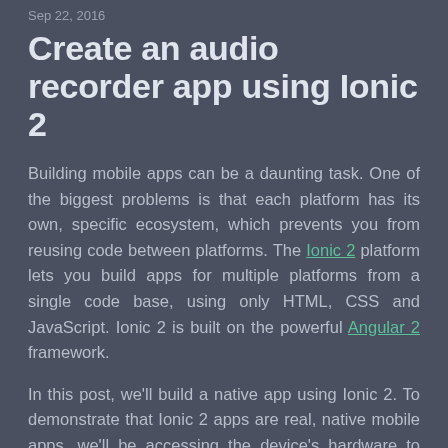Sep 22, 2016
Create an audio recorder app using Ionic 2
Building mobile apps can be a daunting task. One of the biggest problems is that each platform has its own, specific ecosystem, which prevents you from reusing code between platforms. The Ionic 2 platform lets you build apps for multiple platforms from a single code base, using only HTML, CSS and JavaScript. Ionic 2 is built on the powerful Angular 2 framework.
In this post, we'll build a native app using Ionic 2. To demonstrate that Ionic 2 apps are real, native mobile apps, we'll be accessing the device's hardware to record (and playback) audio.